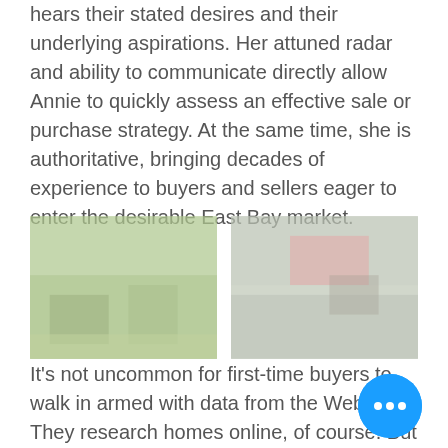hears their stated desires and their underlying aspirations. Her attuned radar and ability to communicate directly allow Annie to quickly assess an effective sale or purchase strategy. At the same time, she is authoritative, bringing decades of experience to buyers and sellers eager to enter the desirable East Bay market.
[Figure (photo): Two outdoor photos side by side, showing greenery/outdoor scenes, faded/muted appearance]
[Figure (other): Circular up-arrow navigation button]
It’s not uncommon for first-time buyers to walk in armed with data from the Web. They research homes online, of course. But here’s the truth:
[Figure (other): Blue circular floating action button with three dots (ellipsis)]